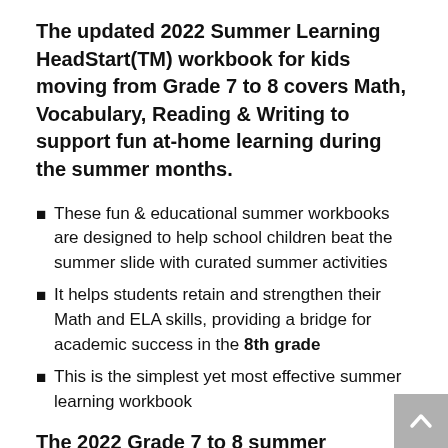The updated 2022 Summer Learning HeadStart(TM) workbook for kids moving from Grade 7 to 8 covers Math, Vocabulary, Reading & Writing to support fun at-home learning during the summer months.
These fun & educational summer workbooks are designed to help school children beat the summer slide with curated summer activities
It helps students retain and strengthen their Math and ELA skills, providing a bridge for academic success in the 8th grade
This is the simplest yet most effective summer learning workbook
The 2022 Grade 7 to 8 summer workbook edition